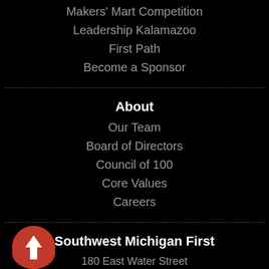Makers' Mart Competition
Leadership Kalamazoo
First Path
Become a Sponsor
About
Our Team
Board of Directors
Council of 100
Core Values
Careers
Southwest Michigan First
180 East Water Street
Suite 2690
Kalamazoo, MI 49007